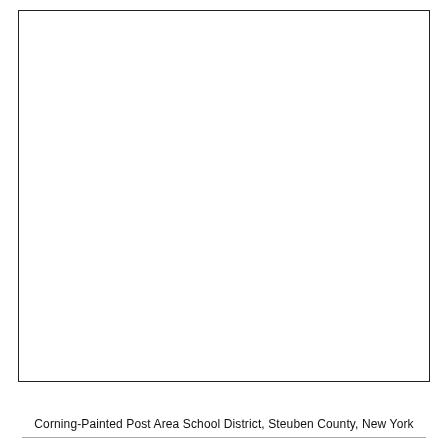[Figure (other): Large blank bordered rectangle occupying most of the page, likely a placeholder for a map or diagram.]
Corning-Painted Post Area School District, Steuben County, New York